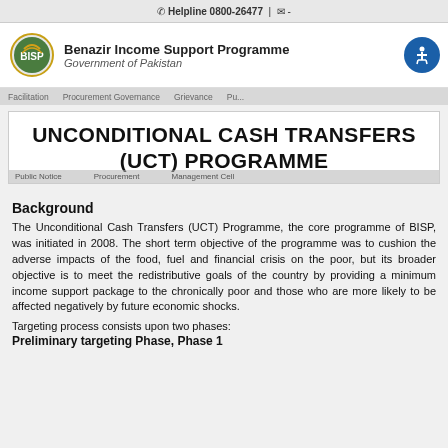Helpline 0800-26477 | ✉ -
[Figure (logo): Benazir Income Support Programme (BISP) logo with green circular emblem and BISP text, Government of Pakistan]
Benazir Income Support Programme Government of Pakistan
UNCONDITIONAL CASH TRANSFERS (UCT) PROGRAMME
Background
The Unconditional Cash Transfers (UCT) Programme, the core programme of BISP, was initiated in 2008. The short term objective of the programme was to cushion the adverse impacts of the food, fuel and financial crisis on the poor, but its broader objective is to meet the redistributive goals of the country by providing a minimum income support package to the chronically poor and those who are more likely to be affected negatively by future economic shocks.
Targeting process consists upon two phases:
Preliminary targeting Phase, Phase 1